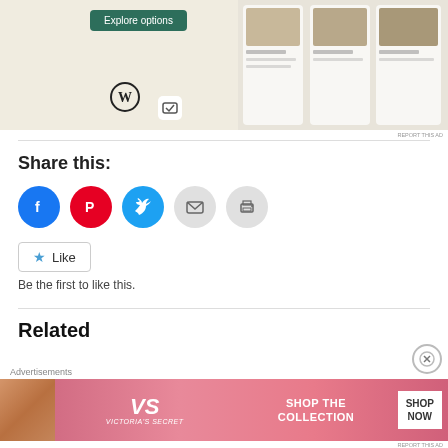[Figure (screenshot): Advertisement showing a 'Explore options' button with WordPress logo and food app/website screenshot on a beige background]
REPORT THIS AD
Share this:
[Figure (infographic): Social sharing icons: Facebook (blue circle), Pinterest (red circle), Twitter (blue circle), Email (grey circle), Print (grey circle)]
Like
Be the first to like this.
Related
Advertisements
[Figure (photo): Victoria's Secret advertisement banner showing a woman, VS logo, 'SHOP THE COLLECTION' text, and 'SHOP NOW' button]